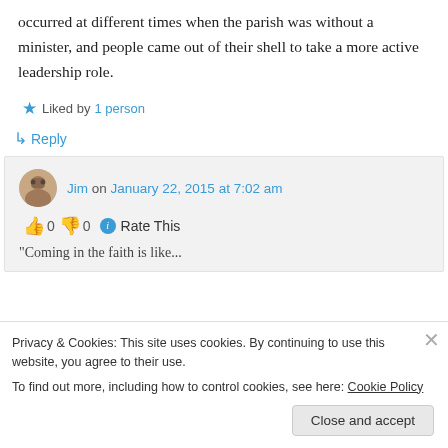occurred at different times when the parish was without a minister, and people came out of their shell to take a more active leadership role.
★ Liked by 1 person
↳ Reply
Jim on January 22, 2015 at 7:02 am
👍 0 👎 0 ℹ Rate This
"Coming in the faith is like...
Privacy & Cookies: This site uses cookies. By continuing to use this website, you agree to their use.
To find out more, including how to control cookies, see here: Cookie Policy
Close and accept